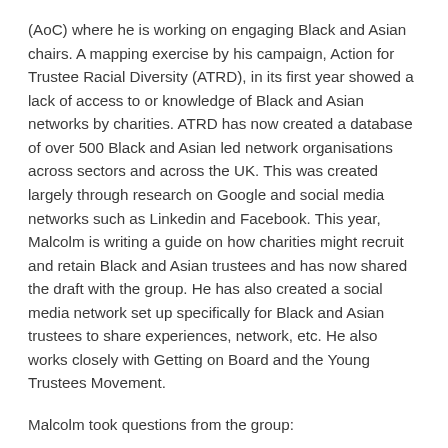(AoC) where he is working on engaging Black and Asian chairs. A mapping exercise by his campaign, Action for Trustee Racial Diversity (ATRD), in its first year showed a lack of access to or knowledge of Black and Asian networks by charities. ATRD has now created a database of over 500 Black and Asian led network organisations across sectors and across the UK. This was created largely through research on Google and social media networks such as Linkedin and Facebook. This year, Malcolm is writing a guide on how charities might recruit and retain Black and Asian trustees and has now shared the draft with the group. He has also created a social media network set up specifically for Black and Asian trustees to share experiences, network, etc. He also works closely with Getting on Board and the Young Trustees Movement.
Malcolm took questions from the group: